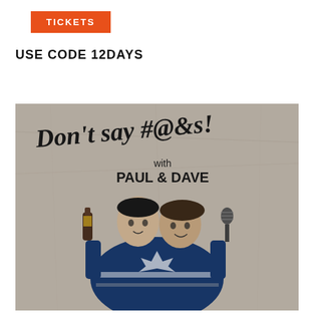TICKETS
USE CODE 12DAYS
[Figure (illustration): Promotional poster for 'Don't say #@&s! with Paul & Dave' showing two men illustrated in black and white, one holding a bottle and the other a microphone, both wearing a Toronto Maple Leafs hockey jersey, against a crumpled grey paper background.]